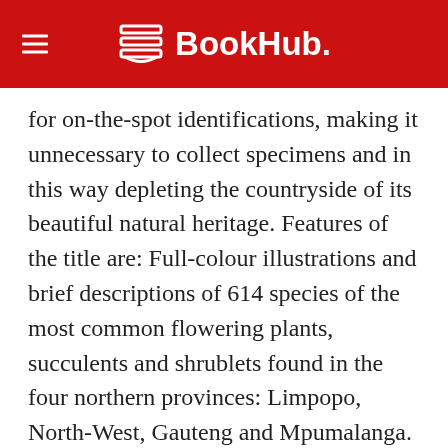BookHub.
for on-the-spot identifications, making it unnecessary to collect specimens and in this way depleting the countryside of its beautiful natural heritage. Features of the title are: Full-colour illustrations and brief descriptions of 614 species of the most common flowering plants, succulents and shrublets found in the four northern provinces: Limpopo, North-West, Gauteng and Mpumalanga. For quick and easy identification plants are placed in eight major categories of flower colour, namely white/cream-coloured; pink, yellow/orange, blue, mauve/purple, red, brown and green flowers. Each plant family is briefly introduced, where possible giving characters to distinguish them from each other